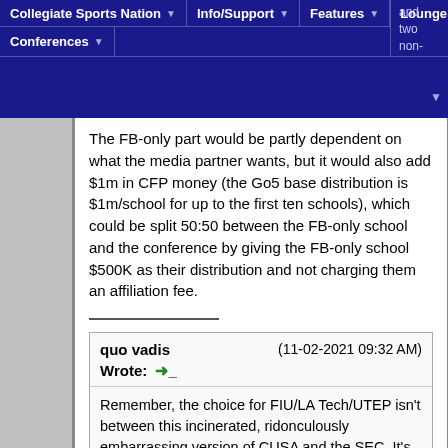Collegiate Sports Nation | Info/Support | Features | Lounge | Conferences
and two non-FBS schools would get their association problems. I.e. a stage-of round robin.
The FB-only part would be partly dependent on what the media partner wants, but it would also add $1m in CFP money (the Go5 base distribution is $1m/school for up to the first ten schools), which could be split 50:50 between the FB-only school and the conference by giving the FB-only school $500K as their distribution and not charging them an affiliation fee.
quo vadis (11-02-2021 09:32 AM) Wrote: → Remember, the choice for FIU/LA Tech/UTEP isn't between this incinerated, ridonculously embarrassing version of CUSA and the SEC. It's between this incinerated ridonculously embarrassing version of CUSA and being dropped. Because even the FBS...